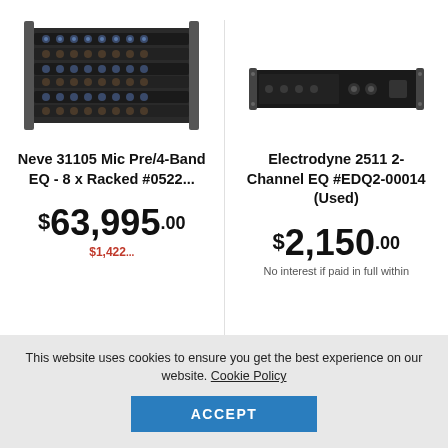[Figure (photo): Neve 31105 Mic Pre/4-Band EQ - 8 x Racked rack unit with multiple knobs and controls]
[Figure (photo): Electrodyne 2511 2-Channel EQ rack unit, slim 1U black device]
Neve 31105 Mic Pre/4-Band EQ - 8 x Racked #0522...
Electrodyne 2511 2-Channel EQ #EDQ2-00014 (Used)
$63,995.00
$2,150.00
$1,422... (partially visible)
No interest if paid in full within
This website uses cookies to ensure you get the best experience on our website. Cookie Policy
ACCEPT